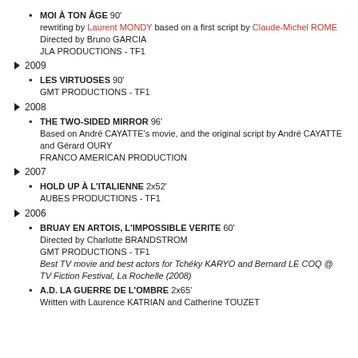MOI À TON ÂGE 90' rewriting by Laurent MONDY based on a first script by Claude-Michel ROME Directed by Bruno GARCIA JLA PRODUCTIONS - TF1
▶ 2009
LES VIRTUOSES 90' GMT PRODUCTIONS - TF1
▶ 2008
THE TWO-SIDED MIRROR 96' Based on André CAYATTE's movie, and the original script by André CAYATTE and Gérard OURY FRANCO AMERICAN PRODUCTION
▶ 2007
HOLD UP À L'ITALIENNE 2x52' AUBES PRODUCTIONS - TF1
▶ 2006
BRUAY EN ARTOIS, L'IMPOSSIBLE VERITE 60' Directed by Charlotte BRANDSTROM GMT PRODUCTIONS - TF1 Best TV movie and best actors for Tchéky KARYO and Bernard LE COQ @ TV Fiction Festival, La Rochelle (2008)
A.D. LA GUERRE DE L'OMBRE 2x65' Written with Laurence KATRIAN and Catherine TOUZET